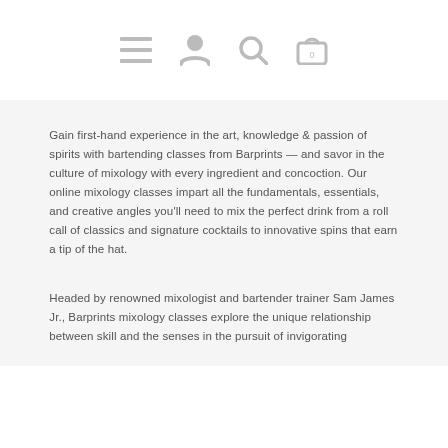[navigation icons: menu, user, search, cart(0)]
Gain first-hand experience in the art, knowledge & passion of spirits with bartending classes from Barprints — and savor in the culture of mixology with every ingredient and concoction. Our online mixology classes impart all the fundamentals, essentials, and creative angles you'll need to mix the perfect drink from a roll call of classics and signature cocktails to innovative spins that earn a tip of the hat.
Headed by renowned mixologist and bartender trainer Sam James Jr., Barprints mixology classes explore the unique relationship between skill and the senses in the pursuit of invigorating